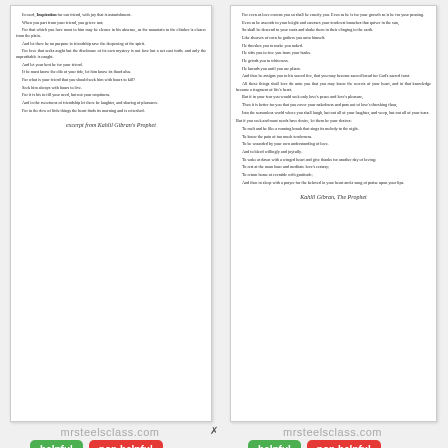[Figure (other): Scanned page from Kahlil Gibran's The Prophet - left document card with text excerpt and handwritten signature]
[Figure (other): Scanned page from Kahlil Gibran's The Prophet - right document card with text excerpt and handwritten signature]
mrsteelsclass.com
mrsteelsclass.com
helpful | non helpful (buttons, left card)
helpful | non helpful (buttons, right card)